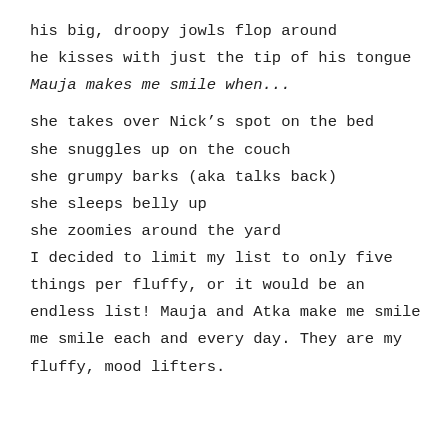his big, droopy jowls flop around
he kisses with just the tip of his tongue
Mauja makes me smile when...
she takes over Nick’s spot on the bed
she snuggles up on the couch
she grumpy barks (aka talks back)
she sleeps belly up
she zoomies around the yard
I decided to limit my list to only five things per fluffy, or it would be an endless list! Mauja and Atka make me smile me smile each and every day. They are my fluffy, mood lifters.